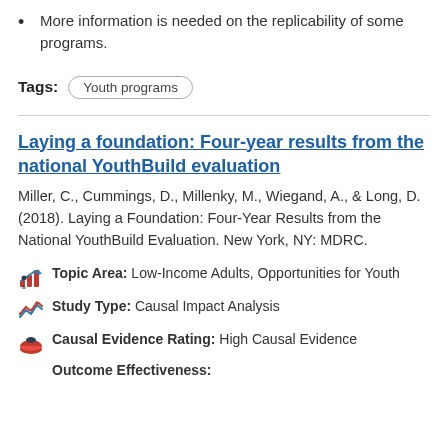More information is needed on the replicability of some programs.
Tags: Youth programs
Laying a foundation: Four-year results from the national YouthBuild evaluation
Miller, C., Cummings, D., Millenky, M., Wiegand, A., & Long, D. (2018). Laying a Foundation: Four-Year Results from the National YouthBuild Evaluation. New York, NY: MDRC.
Topic Area: Low-Income Adults, Opportunities for Youth
Study Type: Causal Impact Analysis
Causal Evidence Rating: High Causal Evidence
Outcome Effectiveness: